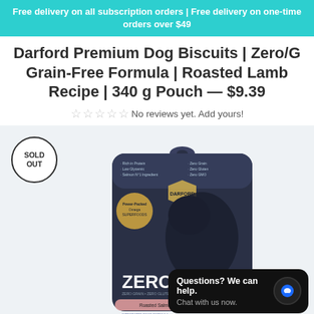Free delivery on all subscription orders | Free delivery on one-time orders over $49
Darford Premium Dog Biscuits | Zero/G Grain-Free Formula | Roasted Lamb Recipe | 340 g Pouch — $9.39
No reviews yet. Add yours!
[Figure (photo): Product photo of Darford Zero/G grain-free dog biscuit pouch with a dog image on packaging, with a SOLD OUT badge overlay and a chat widget overlay reading 'Questions? We can help. Chat with us now.']